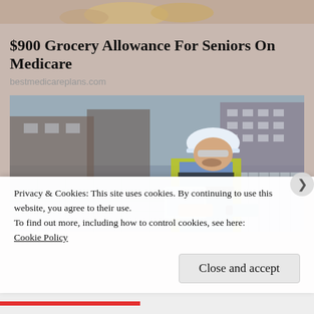[Figure (photo): Partial top view of an ad image, blurred/cropped golden-toned objects on a pinkish-tan background]
$900 Grocery Allowance For Seniors On Medicare
bestmedicareplans.com
[Figure (photo): A construction worker or engineer wearing a white hard hat, yellow safety vest, and safety glasses, holding a tablet device while standing near solar panels on a rooftop. Buildings visible in background.]
Privacy & Cookies: This site uses cookies. By continuing to use this website, you agree to their use.
To find out more, including how to control cookies, see here:
Cookie Policy
Close and accept